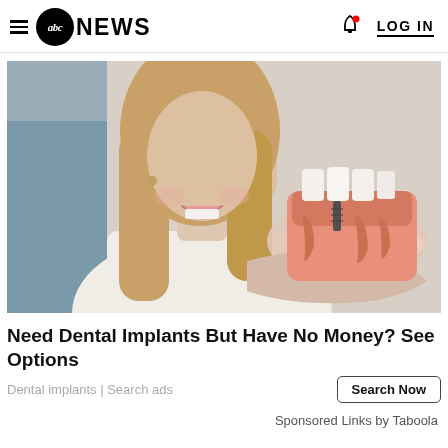abc NEWS  LOG IN
[Figure (photo): Woman sitting in a dental chair smiling, with a person's hand holding a dental implant model showing teeth and implant structure]
Need Dental Implants But Have No Money? See Options
Dental implants | Search ads
Sponsored Links by Taboola